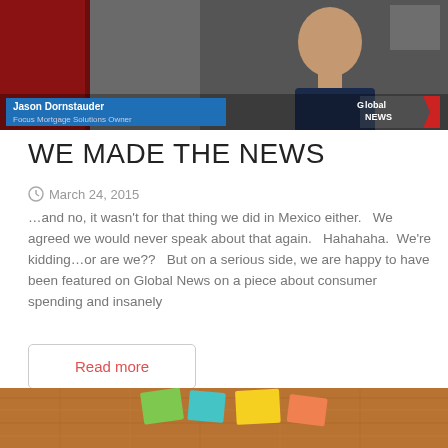[Figure (screenshot): TV news screenshot showing Jason Dornstauder, Focus Mortgage Solutions Owner, with Global News logo overlay]
WE MADE THE NEWS
March 24, 2015
...and no, it wasn't for that thing we did in Mexico either.   We agreed we would never speak about that again.   Hahahaha.  We're kidding...or are we??   But on a serious side, we are happy to have been featured on Global News on a piece about consumer spending and insanely
Read more
[Figure (photo): Cork board with colorful sticky notes at the bottom of the page]